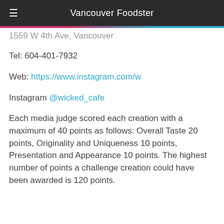Vancouver Foodster
1559 W 4th Ave, Vancouver
Tel: 604-401-7932
Web: https://www.instagram.com/w
Instagram @wicked_cafe
Each media judge scored each creation with a maximum of 40 points as follows: Overall Taste 20 points, Originality and Uniqueness 10 points, Presentation and Appearance 10 points. The highest number of points a challenge creation could have been awarded is 120 points.